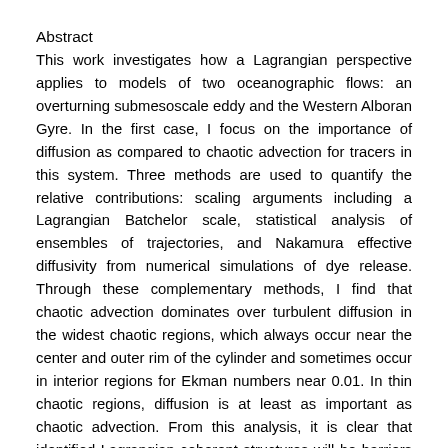Abstract
This work investigates how a Lagrangian perspective applies to models of two oceanographic flows: an overturning submesoscale eddy and the Western Alboran Gyre. In the first case, I focus on the importance of diffusion as compared to chaotic advection for tracers in this system. Three methods are used to quantify the relative contributions: scaling arguments including a Lagrangian Batchelor scale, statistical analysis of ensembles of trajectories, and Nakamura effective diffusivity from numerical simulations of dye release. Through these complementary methods, I find that chaotic advection dominates over turbulent diffusion in the widest chaotic regions, which always occur near the center and outer rim of the cylinder and sometimes occur in interior regions for Ekman numbers near 0.01. In thin chaotic regions, diffusion is at least as important as chaotic advection. From this analysis, it is clear that identified Lagrangian coherent structures will be barriers to transport for long times if they are much larger than the Batchelor scale. The second case is a model of the Western Alboran Gyre with realistic forcing and bathymetry. I examine its transport properties from both an Eulerian and Lagrangian perspective. I find that advection is most often the dominant term in Eulerian budgets